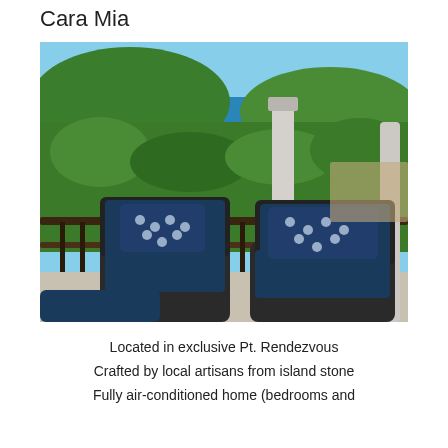Cara Mia
[Figure (photo): Outdoor terrace/balcony with two dark wicker chairs with navy blue cushions and patterned throw pillows. Wrought-iron railing in foreground, white columns, and a panoramic view of a lush green hillside and blue ocean in the background.]
Located in exclusive Pt. Rendezvous
Crafted by local artisans from island stone
Fully air-conditioned home (bedrooms and